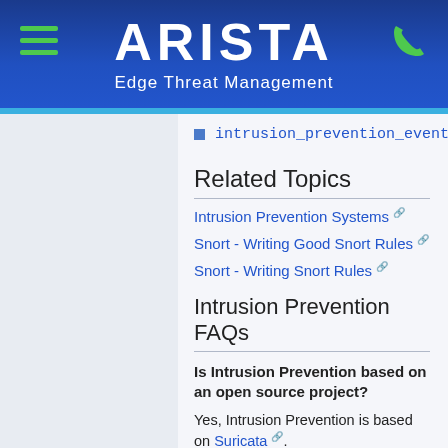ARISTA Edge Threat Management
intrusion_prevention_events
Related Topics
Intrusion Prevention Systems [external link]
Snort - Writing Good Snort Rules [external link]
Snort - Writing Snort Rules [external link]
Intrusion Prevention FAQs
Is Intrusion Prevention based on an open source project?
Yes, Intrusion Prevention is based on Suricata [external link].